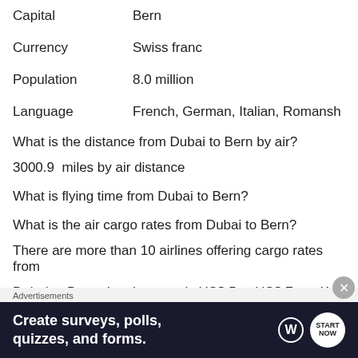Capital    Bern
Currency    Swiss franc
Population    8.0 million
Language    French, German, Italian, Romansh
What is the distance from Dubai to Bern by air?
3000.9  miles by air distance
What is flying time from Dubai to Bern?
What is the air cargo rates from Dubai to Bern?
There are more than 10 airlines offering cargo rates from
Dubai to Bern, the cheapest is US$ 5 to US$ 7 per Kg.
Advertisements
[Figure (screenshot): Advertisement banner for WordPress survey/forms tool with text 'Create surveys, polls, quizzes, and forms.']